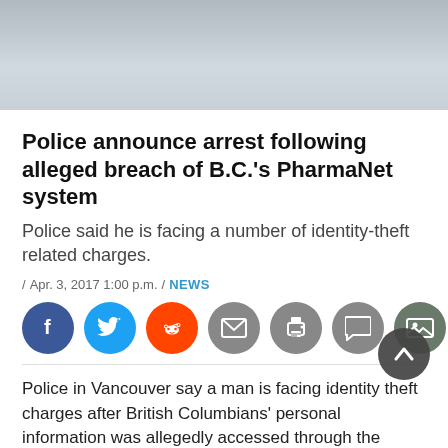[Figure (photo): Blurred grey/blue hero image at top of article]
Police announce arrest following alleged breach of B.C.'s PharmaNet system
Police said he is facing a number of identity-theft related charges.
/ Apr. 3, 2017 1:00 p.m. / NEWS
[Figure (infographic): Social sharing buttons: Facebook, Twitter, Reddit, Email, Print, Comment, Gallery]
Police in Vancouver say a man is facing identity theft charges after British Columbians' personal information was allegedly accessed through the PharmaNet system.
An investigation was launched in February after police were